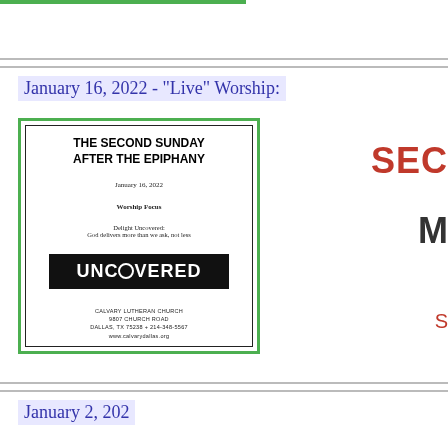January 16, 2022 - "Live" Worship:
[Figure (illustration): Church bulletin cover for The Second Sunday After The Epiphany, January 16, 2022, with UNCOVERED sermon series graphic, Calvary Lutheran Church, Dallas TX]
January 2, 202...